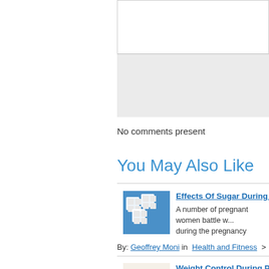[Figure (screenshot): Form input area with white text box and gray background below]
No comments present
You May Also Like
[Figure (photo): Sugar cubes stacked on blue background]
Effects Of Sugar During Pregnancy
A number of pregnant women battle w... during the pregnancy period. This is b... bit of it. What...
By: Geoffrey Moni in  Health and Fitness  >  Diabetes
[Figure (photo): Pregnant woman eating from plate]
Weight Control During Pregnancy
Believe this or not, I personally am on... During my whole 9 months of pregnan...
By: MarleneW  in   Home and Family  >  Pregnancy
[Figure (photo): Pregnant woman in exercise clothing]
Pregnancy And Exercise Ball Go Ha...